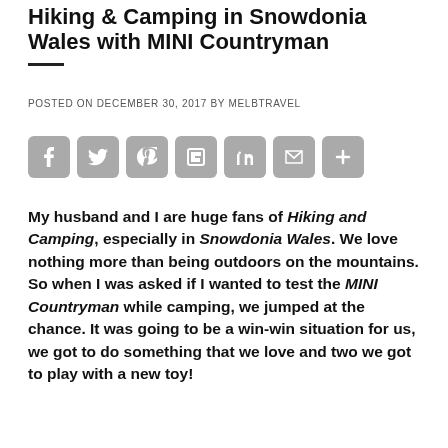Hiking & Camping in Snowdonia Wales with MINI Countryman
POSTED ON DECEMBER 30, 2017 BY MELBTRAVEL
[Figure (other): Social sharing icons: Facebook, Twitter, Pinterest, Flipboard, LinkedIn, Gmail, and a plus/more button]
My husband and I are huge fans of Hiking and Camping, especially in Snowdonia Wales. We love nothing more than being outdoors on the mountains. So when I was asked if I wanted to test the MINI Countryman while camping, we jumped at the chance. It was going to be a win-win situation for us, we got to do something that we love and two we got to play with a new toy!